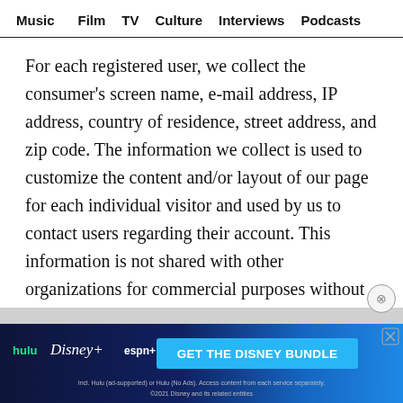Music  Film  TV  Culture  Interviews  Podcasts
For each registered user, we collect the consumer's screen name, e-mail address, IP address, country of residence, street address, and zip code. The information we collect is used to customize the content and/or layout of our page for each individual visitor and used by us to contact users regarding their account. This information is not shared with other organizations for commercial purposes without user consent. Unregistered users may use the portions of the Pondust site that do
[Figure (other): Advertisement banner for Disney Bundle featuring Hulu, Disney+, and ESPN+ logos with 'GET THE DISNEY BUNDLE' call to action button. Fine print: Incl. Hulu (ad-supported) or Hulu (No Ads). Access content from each service separately. ©2021 Disney and its related entities.]